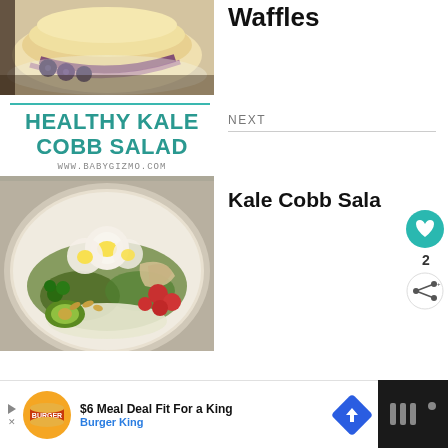[Figure (photo): Photo of stacked pancakes/waffles with blueberry sauce and blueberries on a white plate]
Waffles
NEXT
[Figure (photo): Healthy Kale Cobb Salad recipe card with teal title text and www.babygizmo.com URL]
Kale Cobb Sala
[Figure (photo): Kale Cobb salad on a decorative white plate with eggs, cherry tomatoes, avocado, greens, and nuts]
$6 Meal Deal Fit For a King
Burger King